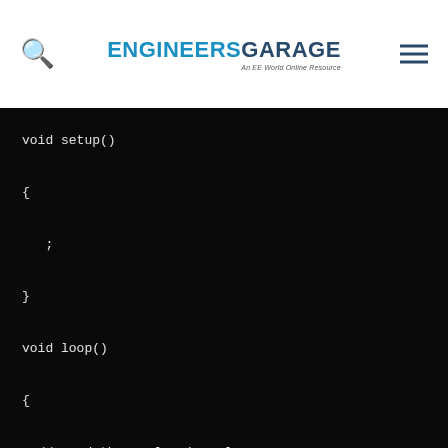ENGINEERS GARAGE — An EE World Online Resource
void setup()
{
  ;
}

void loop()
{
  // read the analog in value:

  potvalue = analogRead(analogInPin);